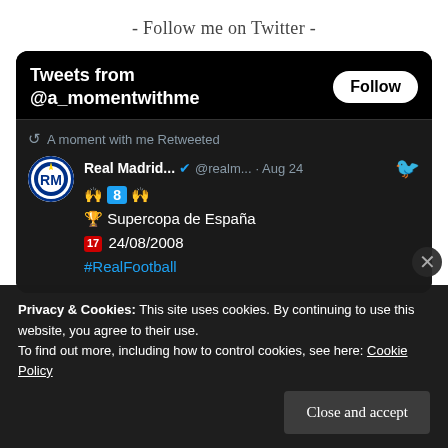- Follow me on Twitter -
[Figure (screenshot): Twitter widget showing 'Tweets from @a_momentwithme' with a Follow button. Contains a retweet from Real Madrid with emoji text: raised hands, number 8 keycap, trophy Supercopa de España, calendar 24/08/2008, and hashtag #RealFootball. Aug 24.]
Privacy & Cookies: This site uses cookies. By continuing to use this website, you agree to their use.
To find out more, including how to control cookies, see here: Cookie Policy
Close and accept